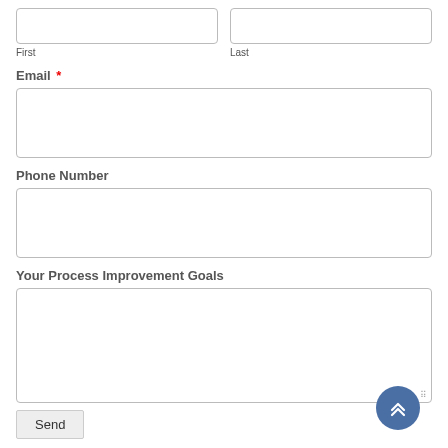First
Last
Email *
Phone Number
Your Process Improvement Goals
Send